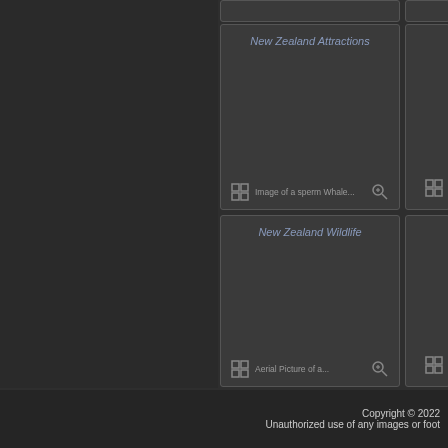[Figure (screenshot): Dark UI screenshot showing a grid of image cards. Left panel is dark gray. Top area has a partial card strip. Two visible cards: 'New Zealand Attractions' with 'Image of a sperm Whale...' caption and grid/zoom icons, and 'New Zealand Wildlife' with 'Aerial Picture of a...' caption and grid/zoom icons. Partial cards visible on right edge.]
Copyright © 2022
Unauthorized use of any images or foot